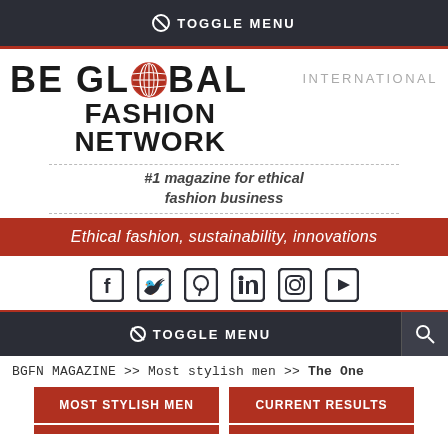⊘ TOGGLE MENU
[Figure (logo): BE GLOBAL FASHION NETWORK logo with globe icon replacing the 'O' in GLOBAL, tagline: #1 magazine for ethical fashion business, INTERNATIONAL label]
Ethical fashion, sustainability, innovations
[Figure (infographic): Social media icons row: Facebook, Twitter, Pinterest, LinkedIn, Instagram, YouTube]
⊘ TOGGLE MENU
BGFN MAGAZINE >> Most stylish men >> The One
MOST STYLISH MEN  CURRENT RESULTS